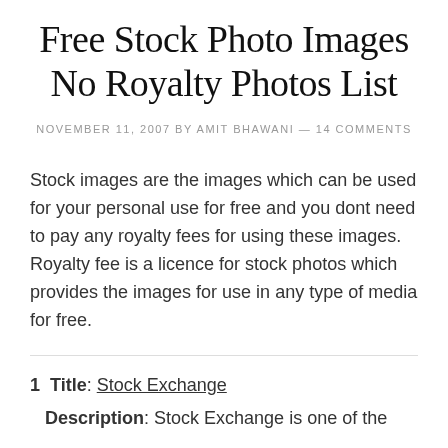Free Stock Photo Images No Royalty Photos List
NOVEMBER 11, 2007 BY AMIT BHAWANI — 14 COMMENTS
Stock images are the images which can be used for your personal use for free and you dont need to pay any royalty fees for using these images. Royalty fee is a licence for stock photos which provides the images for use in any type of media for free.
1  Title: Stock Exchange
Description: Stock Exchange is one of the